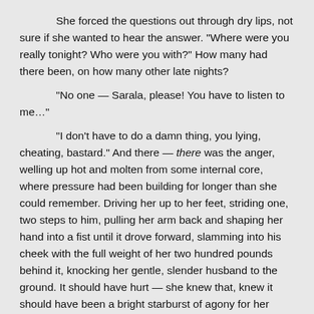She forced the questions out through dry lips, not sure if she wanted to hear the answer.  "Where were you really tonight?  Who were you with?"  How many had there been, on how many other late nights?

"No one — Sarala, please!  You have to listen to me…"

"I don't have to do a damn thing, you lying, cheating, bastard."  And there — there was the anger, welling up hot and molten from some internal core, where pressure had been building for longer than she could remember.  Driving her up to her feet, striding one, two steps to him, pulling her arm back and shaping her hand into a fist until it drove forward, slamming into his cheek with the full weight of her two hundred pounds behind it, knocking her gentle, slender husband to the ground.  It should have hurt — she knew that, knew it should have been a bright starburst of agony for her hand.  But she felt nothing.